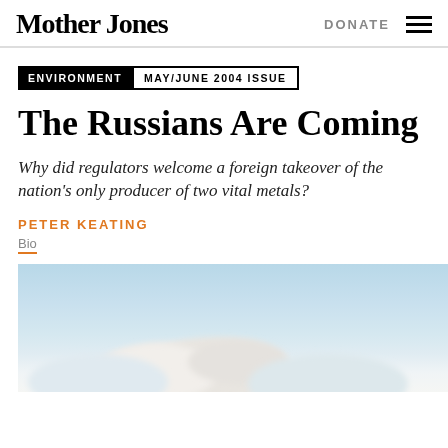Mother Jones | DONATE
ENVIRONMENT  MAY/JUNE 2004 ISSUE
The Russians Are Coming
Why did regulators welcome a foreign takeover of the nation's only producer of two vital metals?
PETER KEATING
Bio
[Figure (photo): Sky with white clouds, appears to show industrial smoke or steam rising against a pale blue sky]